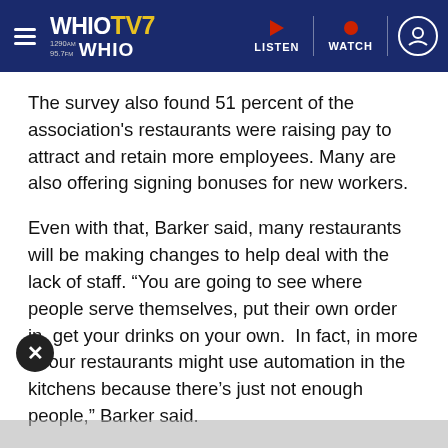WHIOTV7 1290AM 95.7FM WHIO | LISTEN | WATCH
The survey also found 51 percent of the association's restaurants were raising pay to attract and retain more employees. Many are also offering signing bonuses for new workers.
Even with that, Barker said, many restaurants will be making changes to help deal with the lack of staff. “You are going to see where people serve themselves, put their own order in, get your drinks on your own.  In fact, in more of our restaurants might use automation in the kitchens because there’s just not enough people,” Barker said.
Where did restaurant employees go?